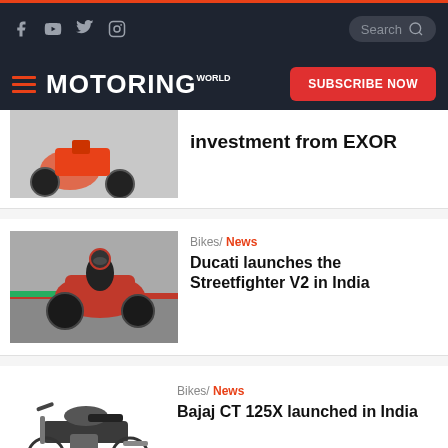Motoring World - social icons, search, subscribe
[Figure (photo): Partial view of orange motorcycle from rear]
investment from EXOR
[Figure (photo): Ducati Streetfighter V2 on a racetrack, rider in red and black gear]
Bikes/ News
Ducati launches the Streetfighter V2 in India
[Figure (photo): Bajaj CT 125X motorcycle on white background]
Bikes/ News
Bajaj CT 125X launched in India